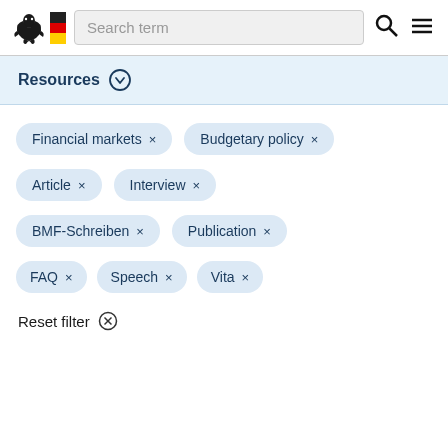Search term
Resources
Financial markets ×
Budgetary policy ×
Article ×
Interview ×
BMF-Schreiben ×
Publication ×
FAQ ×
Speech ×
Vita ×
Reset filter ⊗